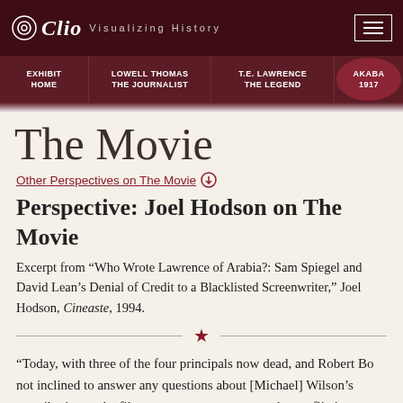Clio Visualizing History
EXHIBIT HOME | LOWELL THOMAS THE JOURNALIST | T.E. LAWRENCE THE LEGEND | AKABA 1917
The Movie
Other Perspectives on The Movie
Perspective: Joel Hodson on The Movie
Excerpt from “Who Wrote Lawrence of Arabia?: Sam Spiegel and David Lean’s Denial of Credit to a Blacklisted Screenwriter,” Joel Hodson, Cineaste, 1994.
“Today, with three of the four principals now dead, and Robert Bo not inclined to answer any questions about [Michael] Wilson’s contribution to the film, any attempt to sort out the conflicting claims or discern the personal motivations involved in this dispute could…